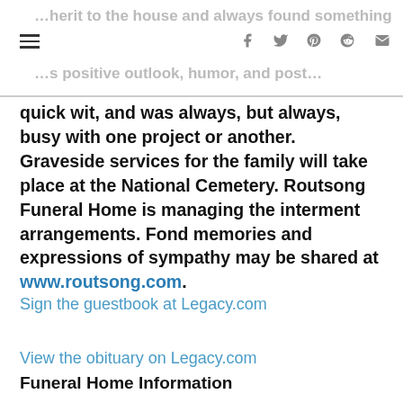quick wit, and was always, but always, busy with one project or another. Graveside services for the family will take place at the National Cemetery. Routsong Funeral Home is managing the interment arrangements. Fond memories and expressions of sympathy may be shared at www.routsong.com.
quick wit, and was always, but always, busy with one project or another. Graveside services for the family will take place at the National Cemetery. Routsong Funeral Home is managing the interment arrangements. Fond memories and expressions of sympathy may be shared at www.routsong.com.
Sign the guestbook at Legacy.com
View the obituary on Legacy.com
Funeral Home Information